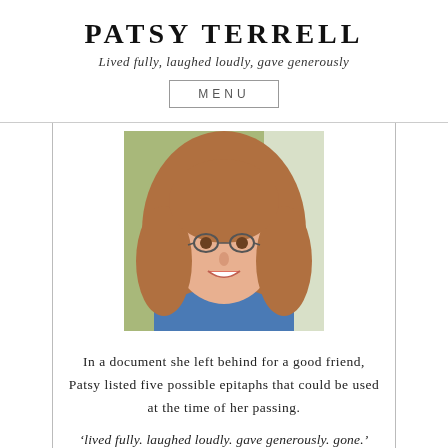PATSY TERRELL
Lived fully, laughed loudly, gave generously
MENU
[Figure (photo): Portrait photo of a woman with long reddish-brown hair, wearing glasses and a blue top, smiling, photographed outdoors with a blurred green background.]
In a document she left behind for a good friend, Patsy listed five possible epitaphs that could be used at the time of her passing.
‘lived fully. laughed loudly. gave generously. gone.’
lived fully, laughed loudly, giving it that, but she also